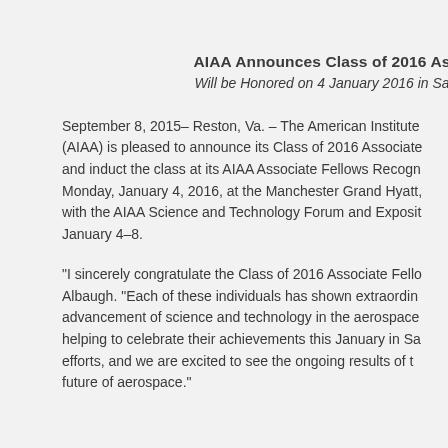AIAA Announces Class of 2016 As...
Will be Honored on 4 January 2016 in Sa...
September 8, 2015– Reston, Va. – The American Institute (AIAA) is pleased to announce its Class of 2016 Associate and induct the class at its AIAA Associate Fellows Recogm Monday, January 4, 2016, at the Manchester Grand Hyatt, with the AIAA Science and Technology Forum and Exposit January 4–8.
“I sincerely congratulate the Class of 2016 Associate Fello Albaugh. “Each of these individuals has shown extraordin advancement of science and technology in the aerospace helping to celebrate their achievements this January in Sa efforts, and we are excited to see the ongoing results of t future of aerospace.”